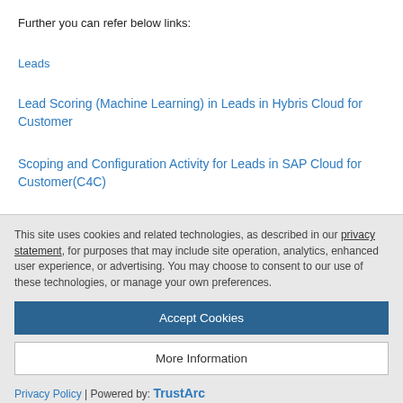Further you can refer below links:
Leads
Lead Scoring (Machine Learning) in Leads in Hybris Cloud for Customer
Scoping and Configuration Activity for Leads in SAP Cloud for Customer(C4C)
This site uses cookies and related technologies, as described in our privacy statement, for purposes that may include site operation, analytics, enhanced user experience, or advertising. You may choose to consent to our use of these technologies, or manage your own preferences.
Accept Cookies
More Information
Privacy Policy | Powered by: TrustArc